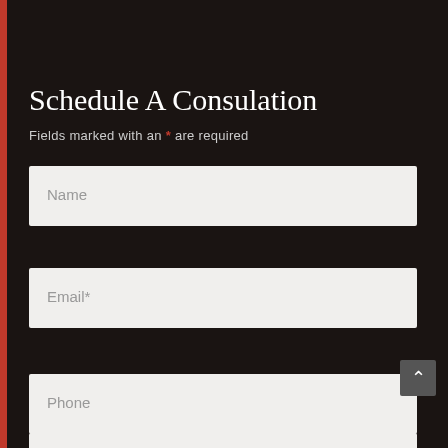Schedule A Consulation
Fields marked with an * are required
Name
Email*
Phone
Message